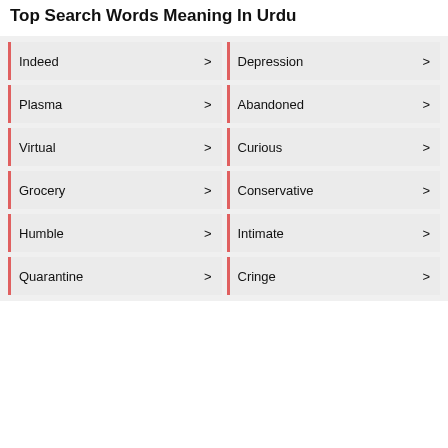Top Search Words Meaning In Urdu
Indeed
Depression
Plasma
Abandoned
Virtual
Curious
Grocery
Conservative
Humble
Intimate
Quarantine
Cringe